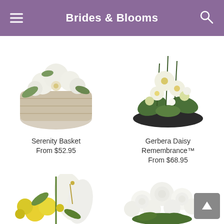Brides & Blooms
[Figure (photo): White lily and gerbera daisy arrangement in a wicker basket (Serenity Basket)]
Serenity Basket
From $52.95
[Figure (photo): Gerbera daisy and green floral remembrance arrangement (Gerbera Daisy Remembrance™)]
Gerbera Daisy Remembrance™
From $68.95
[Figure (photo): White lily and yellow flower bouquet arrangement]
[Figure (photo): White roses and ranunculus bouquet arrangement]